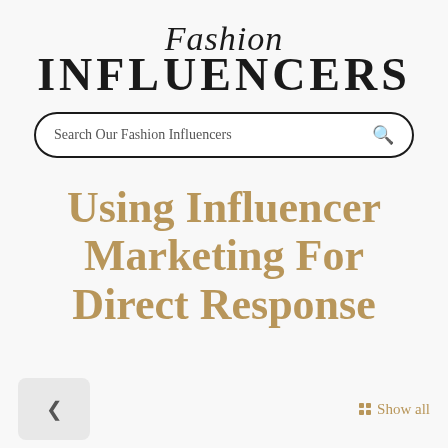Fashion INFLUENCERS
Search Our Fashion Influencers
Using Influencer Marketing For Direct Response
< Show all